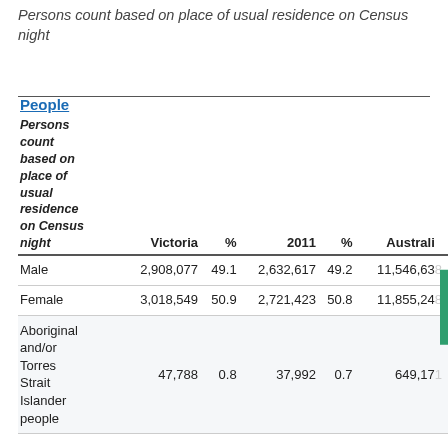Persons count based on place of usual residence on Census night
| Persons count based on place of usual residence on Census night | Victoria | % | 2011 | % | Australia |
| --- | --- | --- | --- | --- | --- |
| Male | 2,908,077 | 49.1 | 2,632,617 | 49.2 | 11,546,638 |
| Female | 3,018,549 | 50.9 | 2,721,423 | 50.8 | 11,855,248 |
| Aboriginal and/or Torres Strait Islander people | 47,788 | 0.8 | 37,992 | 0.7 | 649,171 |